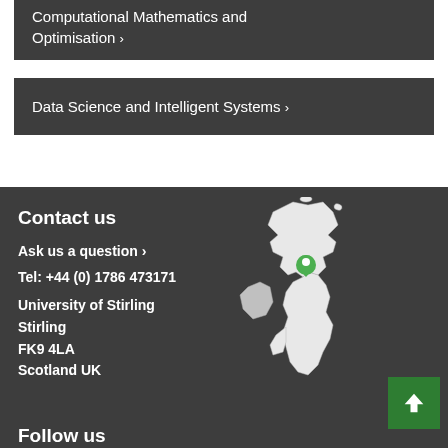Computational Mathematics and Optimisation >
Data Science and Intelligent Systems >
Contact us
Ask us a question )
Tel: +44 (0) 1786 473171
University of Stirling
Stirling
FK9 4LA
Scotland UK
[Figure (map): Map of the United Kingdom with a green location pin marker placed in Scotland near Stirling]
Follow us